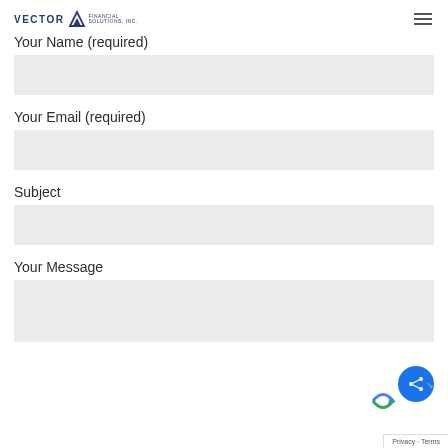VECTOR Financial Solutions, Inc. [hamburger menu]
Your Name (required)
Your Email (required)
Subject
Your Message